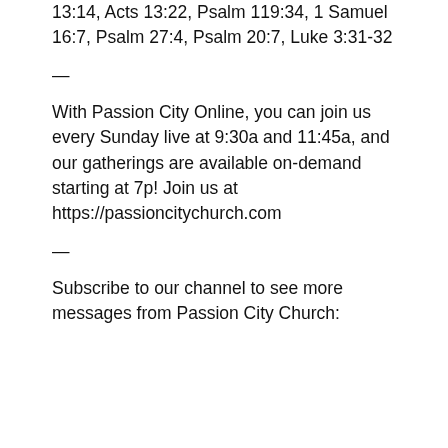13:14, Acts 13:22, Psalm 119:34, 1 Samuel 16:7, Psalm 27:4, Psalm 20:7, Luke 3:31-32
—
With Passion City Online, you can join us every Sunday live at 9:30a and 11:45a, and our gatherings are available on-demand starting at 7p! Join us at https://passioncitychurch.com
—
Subscribe to our channel to see more messages from Passion City Church: